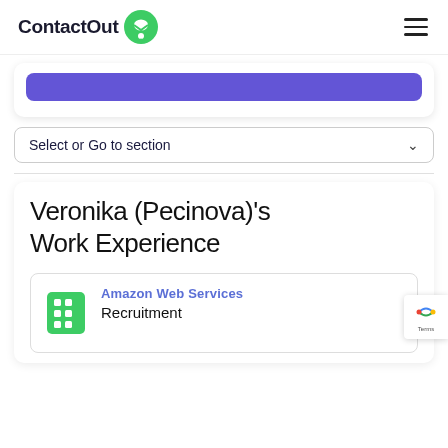ContactOut
[Figure (screenshot): Purple button partially visible at top of a card]
Select or Go to section
Veronika (Pecinova)'s Work Experience
Amazon Web Services
Recruitment